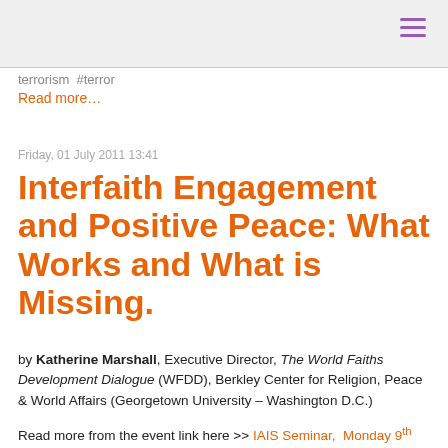≡
terrorism #terror
Read more...
Friday, 01 July 2011 13:41
Interfaith Engagement and Positive Peace: What Works and What is Missing.
by Katherine Marshall, Executive Director, The World Faiths Development Dialogue (WFDD), Berkley Center for Religion, Peace & World Affairs (Georgetown University – Washington D.C.)
Read more from the event link here >> IAIS Seminar, Monday 9th